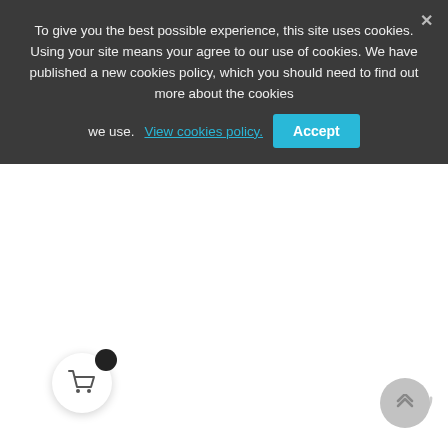To give you the best possible experience, this site uses cookies. Using your site means your agree to our use of cookies. We have published a new cookies policy, which you should need to find out more about the cookies we use. View cookies policy. Accept
[Figure (other): Loading spinner (circular arc indicating page loading), shopping cart icon with notification dot, and scroll-to-top button on white page background below cookie consent banner]